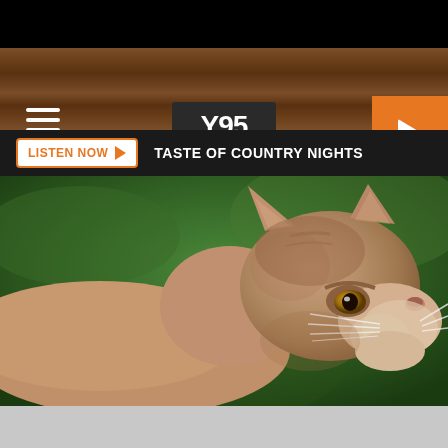Y95 COUNTRY
LISTEN NOW ▶  TASTE OF COUNTRY NIGHTS
[Figure (photo): Close-up photograph of a mountain lion (cougar/puma) with tawny fur, alert amber eyes, and prominent whiskers, against a blurred green background. Photo credit: dssimages, ThinkStock Images.]
dssimages, ThinkStock Images